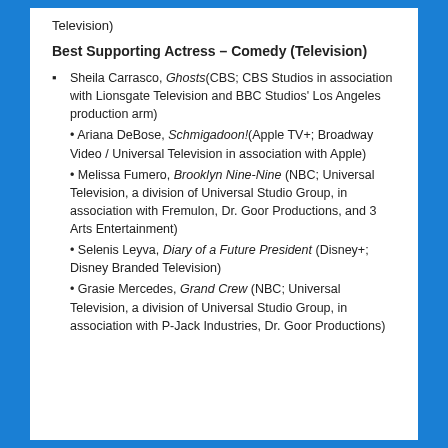Television)
Best Supporting Actress – Comedy (Television)
Sheila Carrasco, Ghosts (CBS; CBS Studios in association with Lionsgate Television and BBC Studios' Los Angeles production arm)
Ariana DeBose, Schmigadoon! (Apple TV+; Broadway Video / Universal Television in association with Apple)
Melissa Fumero, Brooklyn Nine-Nine (NBC; Universal Television, a division of Universal Studio Group, in association with Fremulon, Dr. Goor Productions, and 3 Arts Entertainment)
Selenis Leyva, Diary of a Future President (Disney+; Disney Branded Television)
Grasie Mercedes, Grand Crew (NBC; Universal Television, a division of Universal Studio Group, in association with P-Jack Industries, Dr. Goor Productions)